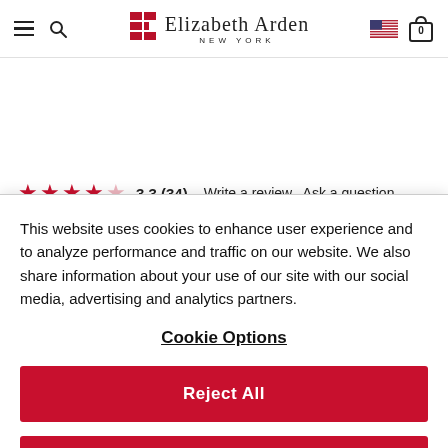[Figure (logo): Elizabeth Arden New York website header with hamburger menu, search icon, logo, flag icon, and cart icon]
★★★★☆ 3.3 (34) Write a review Ask a question
Product Details $26.50
This website uses cookies to enhance user experience and to analyze performance and traffic on our website. We also share information about your use of our site with our social media, advertising and analytics partners.
Cookie Options
Reject All
Accept All